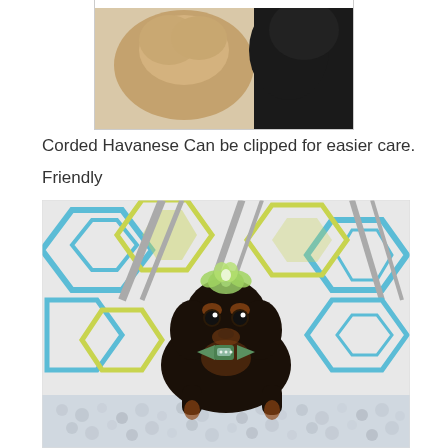[Figure (photo): Partial photo of two dogs (one tan/cream colored and one black) from above, cropped at top of page]
Corded Havanese Can be clipped for easier care.
Friendly
[Figure (photo): Small black and tan puppy wearing a green bow on its head and a green bow tie around its neck, sitting in front of a colorful patterned pillow with teal, yellow, and gray geometric designs, on a white beaded/crystal surface]